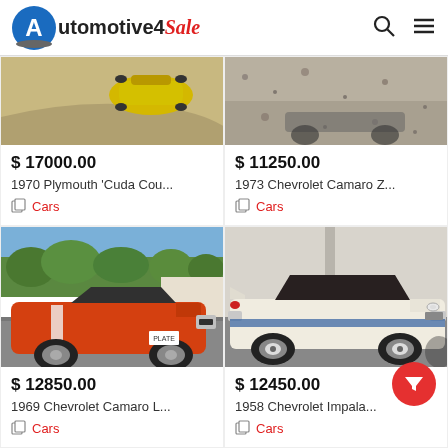Automotive4Sale
[Figure (photo): Partial top-down view of a yellow classic car on pavement]
$ 17000.00
1970 Plymouth 'Cuda Cou...
Cars
[Figure (photo): Gravel surface, partial view of a classic car]
$ 11250.00
1973 Chevrolet Camaro Z...
Cars
[Figure (photo): Orange 1969 Chevrolet Camaro L on a driveway with trees in background]
$ 12850.00
1969 Chevrolet Camaro L...
[Figure (photo): White and blue 1958 Chevrolet Impala parked outside a building]
$ 12450.00
1958 Chevrolet Impala...